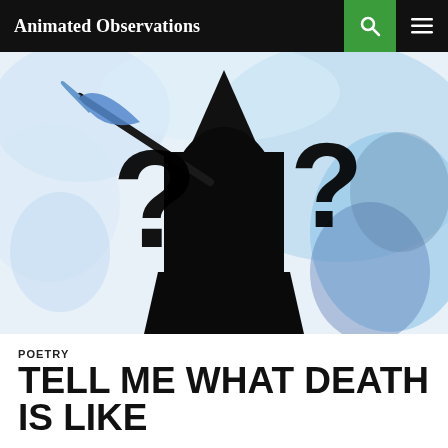Animated Observations
[Figure (illustration): A dark silhouette of the Grim Reaper holding a scythe against a blue smoky background, with two large black question marks overlaid on the image.]
POETRY
TELL ME WHAT DEATH IS LIKE